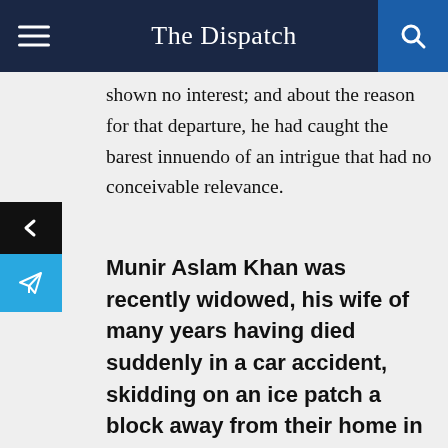The Dispatch
shown no interest; and about the reason for that departure, he had caught the barest innuendo of an intrigue that had no conceivable relevance.
Munir Aslam Khan was recently widowed, his wife of many years having died suddenly in a car accident, skidding on an ice patch a block away from their home in North Toronto. It had been Halloween night and bitterly cold, the first